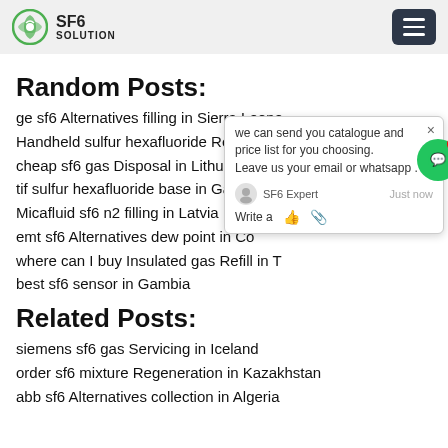SF6 SOLUTION
Random Posts:
ge sf6 Alternatives filling in Sierra Leone
Handheld sulfur hexafluoride Regenerat…
cheap sf6 gas Disposal in Lithuania
tif sulfur hexafluoride base in Gabon
Micafluid sf6 n2 filling in Latvia
emt sf6 Alternatives dew point in Co…
where can I buy Insulated gas Refill in T…
best sf6 sensor in Gambia
Related Posts:
siemens sf6 gas Servicing in Iceland
order sf6 mixture Regeneration in Kazakhstan
abb sf6 Alternatives collection in Algeria